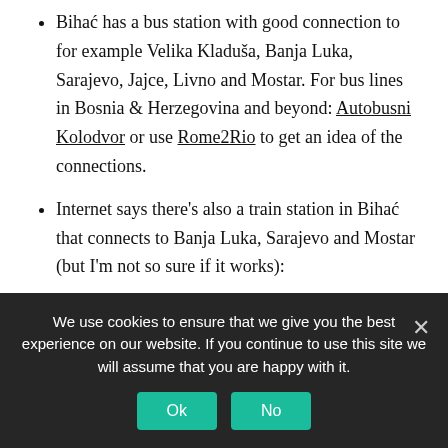Bihać has a bus station with good connection to for example Velika Kladuša, Banja Luka, Sarajevo, Jajce, Livno and Mostar. For bus lines in Bosnia & Herzegovina and beyond: Autobusni Kolodvor or use Rome2Rio to get an idea of the connections.
Internet says there's also a train station in Bihać that connects to Banja Luka, Sarajevo and Mostar (but I'm not so sure if it works):
We use cookies to ensure that we give you the best experience on our website. If you continue to use this site we will assume that you are happy with it.